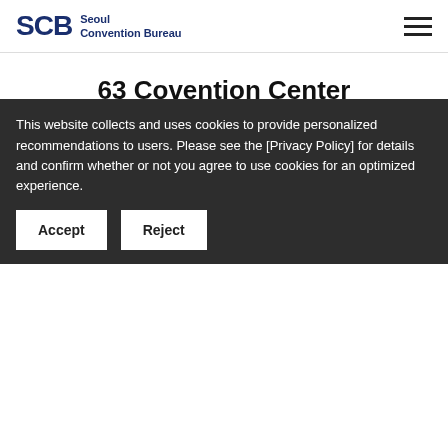[Figure (logo): Seoul Convention Bureau (SCB) logo with hamburger menu icon on the right]
63 Covention Center
[Figure (infographic): Four circular social media / sharing icons: Facebook (f), Blog (blog speech bubble), Quote (speech bubble with comma), Link (chain link)]
This website collects and uses cookies to provide personalized recommendations to users. Please see the [Privacy Policy] for details and confirm whether or not you agree to use cookies for an optimized experience.
Accept
Reject